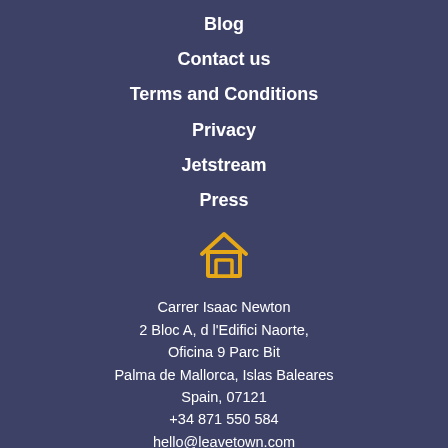List Your Property
Blog
Contact us
Terms and Conditions
Privacy
Jetstream
Press
[Figure (illustration): House/home icon in golden/orange color]
Carrer Isaac Newton
2 Bloc A, d l'Edifici Naorte,
Oficina 9 Parc Bit
Palma de Mallorca, Islas Baleares
Spain, 07121
+34 871 550 584
hello@leavetown.com